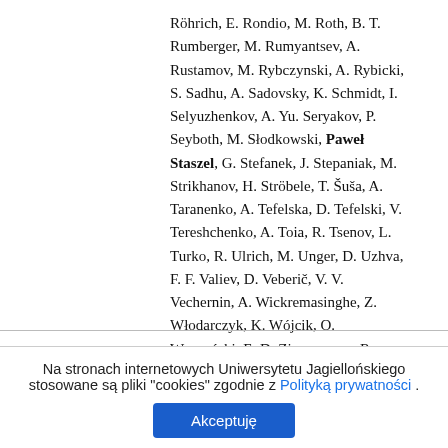Röhrich, E. Rondio, M. Roth, B. T. Rumberger, M. Rumyantsev, A. Rustamov, M. Rybczynski, A. Rybicki, S. Sadhu, A. Sadovsky, K. Schmidt, I. Selyuzhenkov, A. Yu. Seryakov, P. Seyboth, M. Słodkowski, Paweł Staszel, G. Stefanek, J. Stepaniak, M. Strikhanov, H. Ströbele, T. Šuša, A. Taranenko, A. Tefelska, D. Tefelski, V. Tereshchenko, A. Toia, R. Tsenov, L. Turko, R. Ulrich, M. Unger, D. Uzhva, F. F. Valiev, D. Veberič, V. V. Vechernin, A. Wickremasinghe, Z. Włodarczyk, K. Wójcik, O. Wyszyński, E. D. Zimmerman, R. Zwaska, The European Physical Journal. C, Particles
Na stronach internetowych Uniwersytetu Jagiellońskiego stosowane są pliki "cookies" zgodnie z Polityką prywatności .